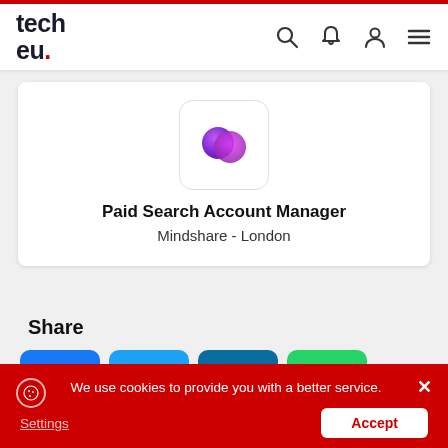tech eu - navigation bar with logo and icons
[Figure (logo): Mindshare company logo - two overlapping purple/magenta spheres]
Paid Search Account Manager
Mindshare - London
Share
[Figure (infographic): Social share buttons: Facebook, Twitter, LinkedIn, WhatsApp, and more (...)]
We use cookies to provide you with a better service.
Settings
Accept